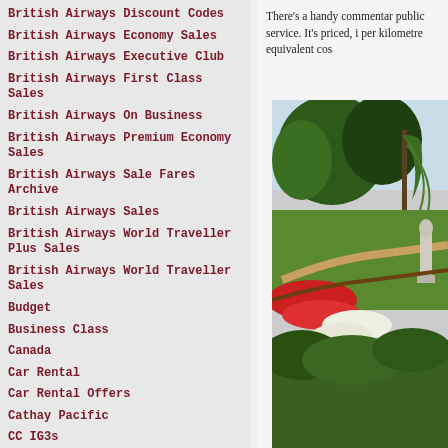British Airways Discount Codes
British Airways Economy Sales
British Airways Executive Club
British Airways First Class Sales
British Airways On Business
British Airways Premium Economy Sales
British Airways Sale Fares Archive
British Airways Sales
British Airways World Traveller Plus Sales
British Airways World Traveller Sales
Budget
Business Class
Canada
Car Rental
Car Rental Offers
Cathay Pacific
CC IG3s
There’s a handy commentar public service. It’s priced, i per kilometre equivalent cos
[Figure (photo): A park scene with lush green trees, colourful flower beds (red and white flowers), green lawn, a path, and a white statue on the right side.]